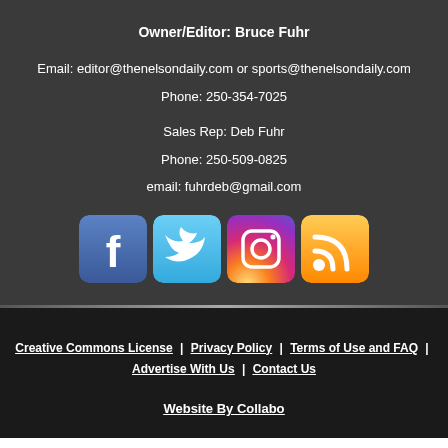Owner/Editor: Bruce Fuhr
Email: editor@thenelsondaily.com or sports@thenelsondaily.com
Phone: 250-354-7025
Sales Rep: Deb Fuhr
Phone: 250-509-0825
email: fuhrdeb@gmail.com
[Figure (infographic): Social media icons: Facebook, Twitter, Instagram, RSS feed]
Creative Commons License | Privacy Policy | Terms of Use and FAQ | Advertise With Us | Contact Us | Website By Collabo